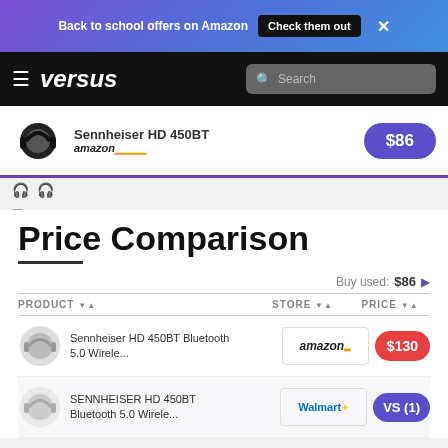Back to school offers on Amazon  Check them out  ✕
[Figure (logo): Versus website navigation bar with hamburger menu, 'versus' logo in italic white, and a search bar]
[Figure (photo): Sennheiser HD 450BT headphones product image with Amazon branding and $86 price button]
Price Comparison
| PRODUCT | STORE | PRICE |
| --- | --- | --- |
| Sennheiser HD 450BT Bluetooth 5.0 Wirele... | amazon | $130 |
| SENNHEISER HD 450BT Bluetooth 5.0 Wirele... | Walmart | VS (1) |